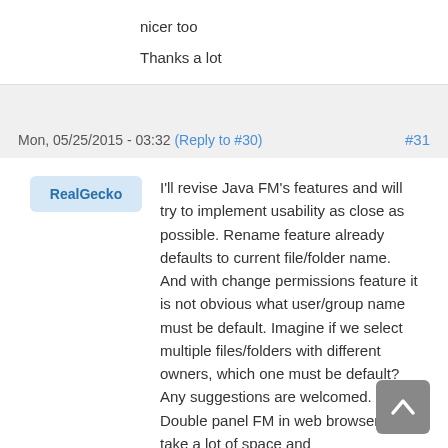nicer too
Thanks a lot
Mon, 05/25/2015 - 03:32 (Reply to #30)  #31
RealGecko
I'll revise Java FM's features and will try to implement usability as close as possible. Rename feature already defaults to current file/folder name. And with change permissions feature it is not obvious what user/group name must be default. Imagine if we select multiple files/folders with different owners, which one must be default? Any suggestions are welcomed. Double panel FM in web browser will take a lot of space and